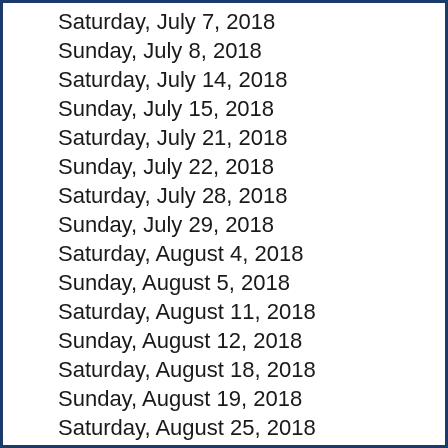Saturday, July 7, 2018
Sunday, July 8, 2018
Saturday, July 14, 2018
Sunday, July 15, 2018
Saturday, July 21, 2018
Sunday, July 22, 2018
Saturday, July 28, 2018
Sunday, July 29, 2018
Saturday, August 4, 2018
Sunday, August 5, 2018
Saturday, August 11, 2018
Sunday, August 12, 2018
Saturday, August 18, 2018
Sunday, August 19, 2018
Saturday, August 25, 2018
Sunday, August 26, 2018
Saturday, September 1, 2018
Sunday, September 2, 2018
Saturday, September 8, 2018